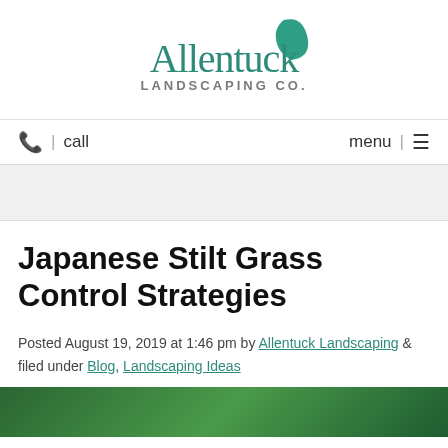[Figure (logo): Allentuck Landscaping Co. logo with teal leaf icon above the company name]
📞 | call    menu | ≡
Japanese Stilt Grass Control Strategies
Posted August 19, 2019 at 1:46 pm by Allentuck Landscaping & filed under Blog, Landscaping Ideas
[Figure (photo): Close-up photo of green grass/plants]